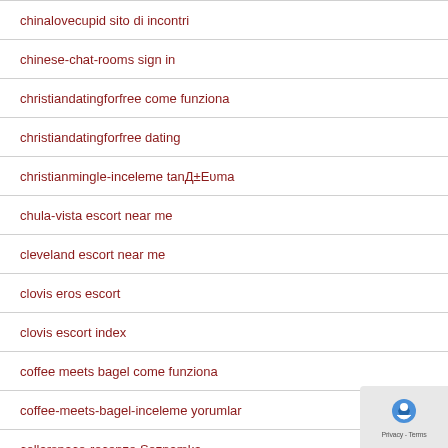chinalovecupid sito di incontri
chinese-chat-rooms sign in
christiandatingforfree come funziona
christiandatingforfree dating
christianmingle-inceleme tanД±Eуma
chula-vista escort near me
cleveland escort near me
clovis eros escort
clovis escort index
coffee meets bagel come funziona
coffee-meets-bagel-inceleme yorumlar
collarspace-recenze Seznamka